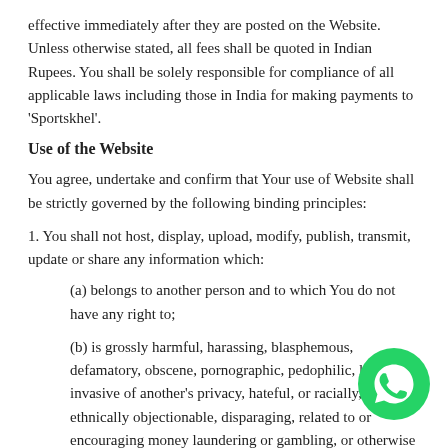effective immediately after they are posted on the Website. Unless otherwise stated, all fees shall be quoted in Indian Rupees. You shall be solely responsible for compliance of all applicable laws including those in India for making payments to ‘Sportskhel’.
Use of the Website
You agree, undertake and confirm that Your use of Website shall be strictly governed by the following binding principles:
1. You shall not host, display, upload, modify, publish, transmit, update or share any information which:
(a) belongs to another person and to which You do not have any right to;
(b) is grossly harmful, harassing, blasphemous, defamatory, obscene, pornographic, pedophilic, libelous, invasive of another’s privacy, hateful, or racially, ethnically objectionable, disparaging, relating to or encouraging money laundering or gambling, or otherwise unlawful in any manner whatsoever, or unlawfully threatening or unlawfully harassing including but not limited to “indecent representation of
[Figure (logo): WhatsApp logo: green circle with white phone handset icon]